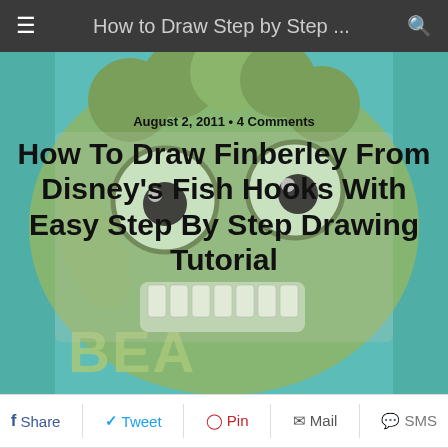How to Draw Step by Step ...
[Figure (illustration): Cartoon character Finberley from Disney's Fish Hooks - a green fish character with large eyes and teeth visible, with 'BEA' text at bottom left, teal background]
August 2, 2011 • 4 Comments
How To Draw Finberley From Disney's Fish Hooks With Easy Step By Step Drawing Tutorial
[Figure (screenshot): Social share bar with Share, Tweet, Pin, Mail, SMS options]
[Figure (infographic): Social media icon buttons: Facebook, Twitter, Reddit, Pinterest, Mail, Print, Plus/More]
Today we will show you how to draw Finberley from Disney's Fish Hooks. Learn how to draw this character